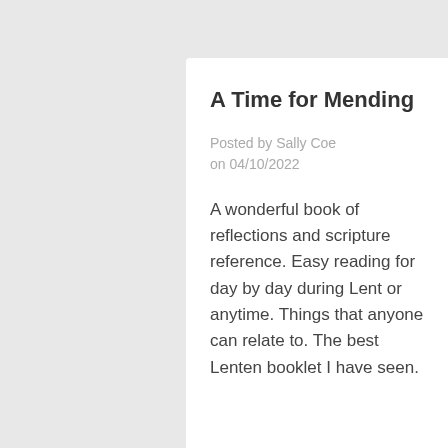A Time for Mending
Posted by Sally Coe on 04/10/2022
A wonderful book of reflections and scripture reference. Easy reading for day by day during Lent or anytime. Things that anyone can relate to. The best Lenten booklet I have seen.